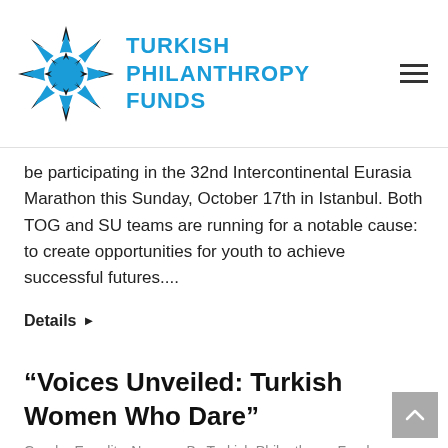Turkish Philanthropy Funds
be participating in the 32nd Intercontinental Eurasia Marathon this Sunday, October 17th in Istanbul. Both TOG and SU teams are running for a notable cause: to create opportunities for youth to achieve successful futures....
Details ▶
“Voices Unveiled: Turkish Women Who Dare”
Gender Equality, News • By Turkish Philanthropy Funds • October 6, 2010 • Leave a comment
Turkish Philanthropy Funds along with The American Turkish Society presents “Voices Unveiled: Turkish Women Who Dare” tonight at NYIT Auditorium on Broadway... Date: October 6, 2010 Time: 6:00 PM 8:30